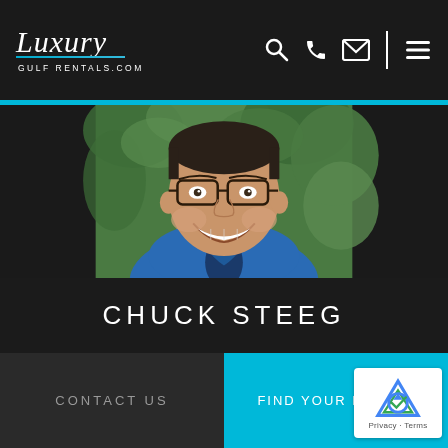Luxury Gulf Rentals .com
[Figure (photo): Portrait photo of Chuck Steeg, a smiling man wearing glasses and a blue jacket, outdoors with green trees in the background]
CHUCK STEEG
CONTACT US
FIND YOUR RENTAL